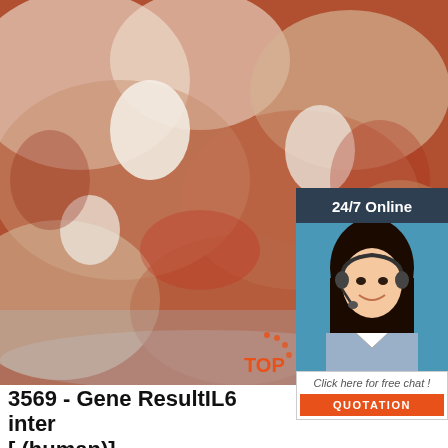[Figure (photo): Close-up photograph of raw meat pieces, possibly beef bones or cuts, wrapped in plastic packaging. Pink and white coloring with bone visible.]
[Figure (photo): Small badge or widget showing '24/7 Online' header in dark blue/gray background, with photo of a female customer service agent wearing a headset and smiling, and a 'Click here for free chat!' prompt with an orange QUOTATION button below.]
3569 - Gene ResultIL6 inter[ (human)]
2021-12-12u2002·u2002This gene encodes a cytokine that functions in inflammation and the maturation of B cells. In addition, the encoded protein has been shown to be an endogenous pyrogen capable of inducing fever in people with autoimmune diseases or infections. The protein is primarily produced at sites of acute and chronic inflammation, where it